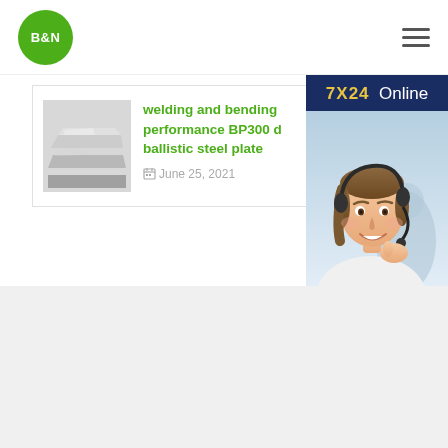[Figure (logo): B&N logo green circle with white bold text]
welding and bending performance BP300 d ballistic steel plate
June 25, 2021
[Figure (photo): Customer service agent wearing headset smiling, 7X24 Online chat widget with 'Hello,may I help you?' and Get Latest Price button]